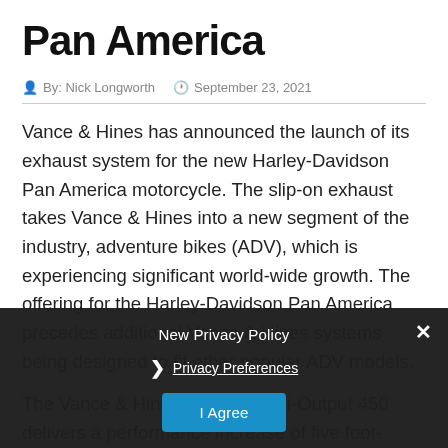Pan America
By: Nick Longworth   September 23, 2021
Vance & Hines has announced the launch of its exhaust system for the new Harley-Davidson Pan America motorcycle. The slip-on exhaust takes Vance & Hines into a new segment of the industry, adventure bikes (ADV), which is experiencing significant world-wide growth. The offering for the Harley-Davidson Pan America precedes additional Vance & Hines systems being designed to fit other popular ADV models.
The Vance & Hines Adventure Hi-Output 450 delivers a performance increase of five foot-pounds of torque and over five horsepower versus the bike's stock exhaust. It reduces the overall weight of the Revolution Max-
New Privacy Policy
Privacy Preferences
I Agree